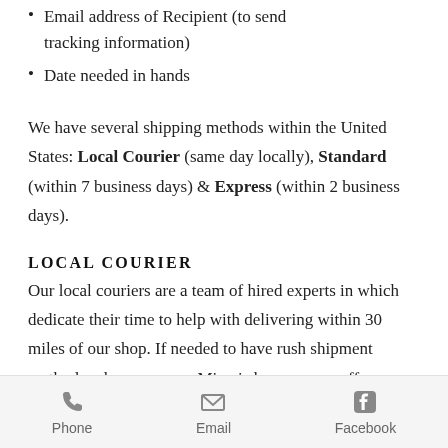Email address of Recipient (to send tracking information)
Date needed in hands
We have several shipping methods within the United States: Local Courier (same day locally), Standard (within 7 business days) & Express (within 2 business days).
LOCAL COURIER
Our local couriers are a team of hired experts in which dedicate their time to help with delivering within 30 miles of our shop. If needed to have rush shipment method and are near our Miami shop, we can offer our local couriers to deliver your item within
Phone  Email  Facebook